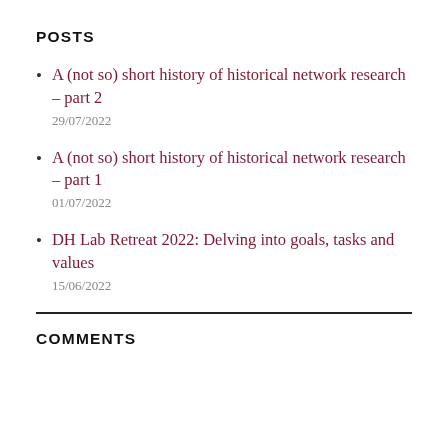POSTS
A (not so) short history of historical network research – part 2
29/07/2022
A (not so) short history of historical network research – part 1
01/07/2022
DH Lab Retreat 2022: Delving into goals, tasks and values
15/06/2022
COMMENTS